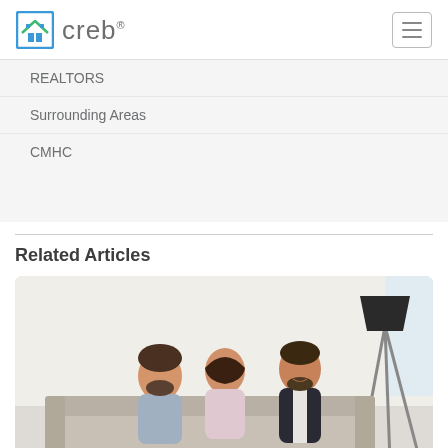creb®
REALTORS
Surrounding Areas
CMHC
Related Articles
[Figure (photo): Two people sitting with a real estate agent on a couch, a black floor lamp visible in the background]